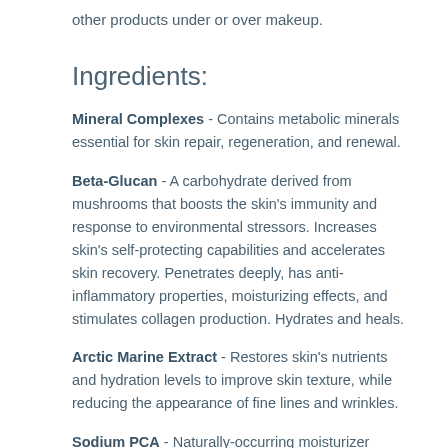other products under or over makeup.
Ingredients:
Mineral Complexes - Contains metabolic minerals essential for skin repair, regeneration, and renewal.
Beta-Glucan - A carbohydrate derived from mushrooms that boosts the skin's immunity and response to environmental stressors. Increases skin's self-protecting capabilities and accelerates skin recovery. Penetrates deeply, has anti-inflammatory properties, moisturizing effects, and stimulates collagen production. Hydrates and heals.
Arctic Marine Extract - Restores skin's nutrients and hydration levels to improve skin texture, while reducing the appearance of fine lines and wrinkles.
Sodium PCA - Naturally-occurring moisturizer present in upper layers of epidermis. Skin-identical and one of